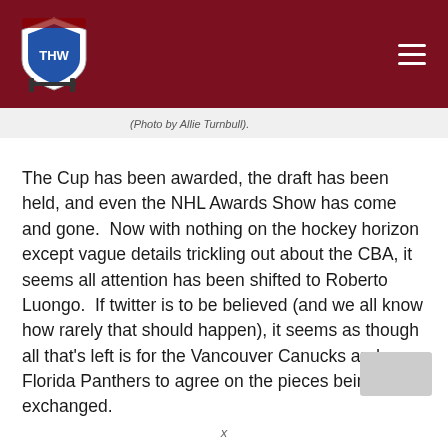THW Hockey Writers logo and navigation
(Photo by Allie Turnbull).
The Cup has been awarded, the draft has been held, and even the NHL Awards Show has come and gone.  Now with nothing on the hockey horizon except vague details trickling out about the CBA, it seems all attention has been shifted to Roberto Luongo.  If twitter is to be believed (and we all know how rarely that should happen), it seems as though all that's left is for the Vancouver Canucks and Florida Panthers to agree on the pieces being exchanged.